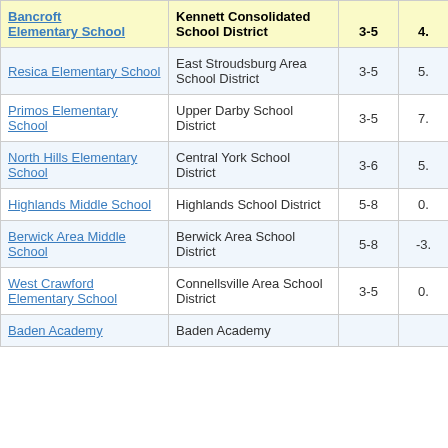| Bancroft Elementary School | Kennett Consolidated School District | 3-5 | 4. |
| --- | --- | --- | --- |
| Resica Elementary School | East Stroudsburg Area School District | 3-5 | 5. |
| Primos Elementary School | Upper Darby School District | 3-5 | 7. |
| North Hills Elementary School | Central York School District | 3-6 | 5. |
| Highlands Middle School | Highlands School District | 5-8 | 0. |
| Berwick Area Middle School | Berwick Area School District | 5-8 | -3. |
| West Crawford Elementary School | Connellsville Area School District | 3-5 | 0. |
| Baden Academy | Baden Academy | 3-6 |  |